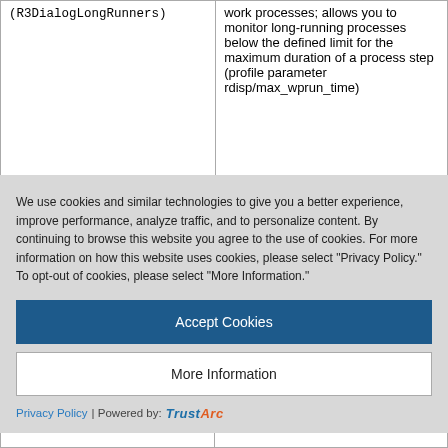| Parameter | Description |
| --- | --- |
| (R3DialogLongRunners) | work processes; allows you to monitor long-running processes below the defined limit for the maximum duration of a process step (profile parameter rdisp/max_wprun_time) |
| DialogSteps (R3DialogSteps) | Average number of |
We use cookies and similar technologies to give you a better experience, improve performance, analyze traffic, and to personalize content. By continuing to browse this website you agree to the use of cookies. For more information on how this website uses cookies, please select "Privacy Policy." To opt-out of cookies, please select "More Information."
Accept Cookies
More Information
Privacy Policy | Powered by: TrustArc